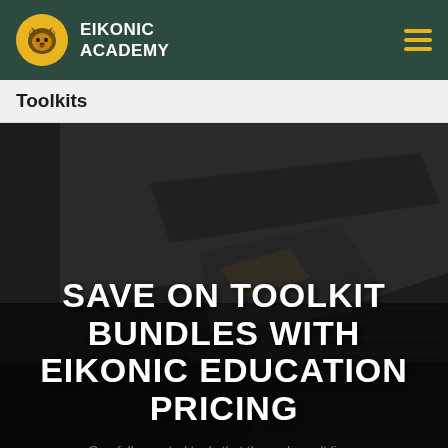EIKONIC ACADEMY
Toolkits
[Figure (photo): Close-up dark photo of tactical/firearm equipment with textured grip and matte black finish]
SAVE ON TOOLKIT BUNDLES WITH EIKONIC EDUCATION PRICING
Carefully curated tools that the pro's can't live...